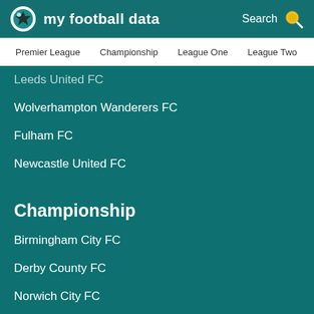my football data
Premier League  Championship  League One  League Two
Leeds United FC
Wolverhampton Wanderers FC
Fulham FC
Newcastle United FC
Championship
Birmingham City FC
Derby County FC
Norwich City FC
AFC Bournemouth